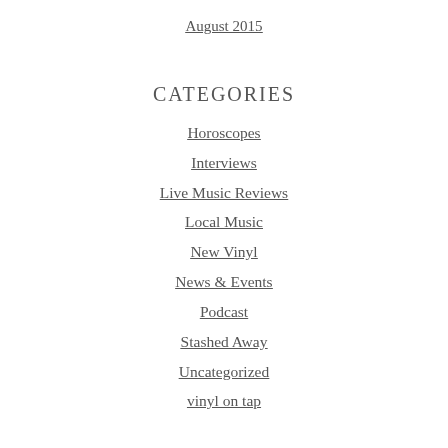August 2015
CATEGORIES
Horoscopes
Interviews
Live Music Reviews
Local Music
New Vinyl
News & Events
Podcast
Stashed Away
Uncategorized
vinyl on tap
META
Register